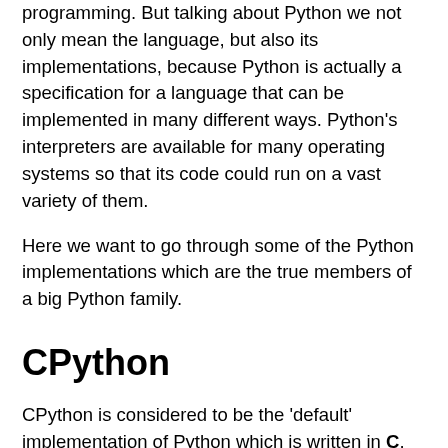programming. But talking about Python we not only mean the language, but also its implementations, because Python is actually a specification for a language that can be implemented in many different ways. Python's interpreters are available for many operating systems so that its code could run on a vast variety of them.
Here we want to go through some of the Python implementations which are the true members of a big Python family.
CPython
CPython is considered to be the 'default' implementation of Python which is written in C. This reference implementation compiles Python code to intermediate bytecode and the last one is then being